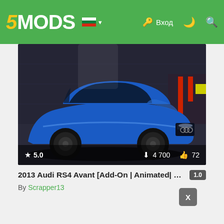5MODS — Вход
[Figure (photo): Screenshot of a blue 2013 Audi RS4 Avant in a garage scene from a video game, with rating 5.0, 4700 downloads, and 72 likes shown at the bottom of the image.]
2013 Audi RS4 Avant [Add-On | Animated| VehFuncs V |... 1.0
By Scrapper13